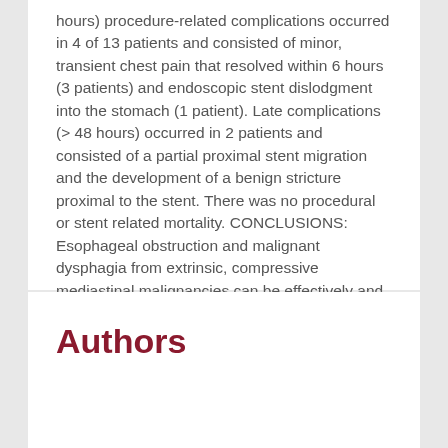hours) procedure-related complications occurred in 4 of 13 patients and consisted of minor, transient chest pain that resolved within 6 hours (3 patients) and endoscopic stent dislodgment into the stomach (1 patient). Late complications (> 48 hours) occurred in 2 patients and consisted of a partial proximal stent migration and the development of a benign stricture proximal to the stent. There was no procedural or stent related mortality. CONCLUSIONS: Esophageal obstruction and malignant dysphagia from extrinsic, compressive mediastinal malignancies can be effectively and safely palliated with self-expanding Gianturco-Rösch Z-stents.
Authors